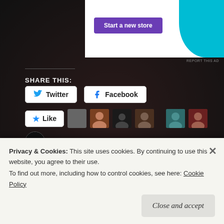[Figure (screenshot): Ad banner with purple 'Start a new store' button and cyan shape on white background]
REPORT THIS AD
SHARE THIS:
[Figure (screenshot): Twitter and Facebook share buttons, Like button with 8 blogger avatars]
8 bloggers like this.
RELATED
By The Lights Of Perverted Science
Denizens of the Depths
March 8, 2017
Privacy & Cookies: This site uses cookies. By continuing to use this website, you agree to their use.
To find out more, including how to control cookies, see here: Cookie Policy
Close and accept